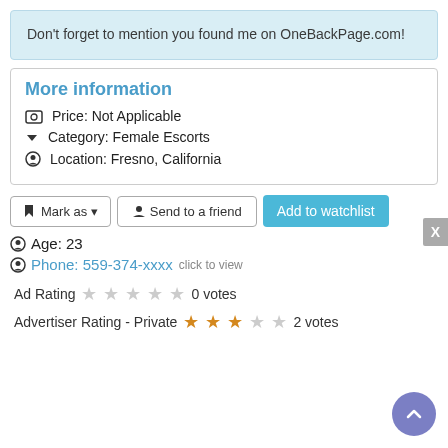Don't forget to mention you found me on OneBackPage.com!
More information
Price: Not Applicable
Category: Female Escorts
Location: Fresno, California
Mark as  |  Send to a friend  |  Add to watchlist
Age: 23
Phone: 559-374-xxxx  click to view
Ad Rating  ☆☆☆☆☆  0 votes
Advertiser Rating - Private  ★★★☆☆  2 votes